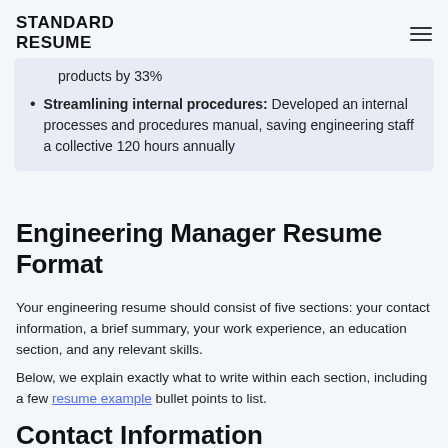STANDARD RESUME
products by 33%
Streamlining internal procedures: Developed an internal processes and procedures manual, saving engineering staff a collective 120 hours annually
Engineering Manager Resume Format
Your engineering resume should consist of five sections: your contact information, a brief summary, your work experience, an education section, and any relevant skills.
Below, we explain exactly what to write within each section, including a few resume example bullet points to list.
Contact Information